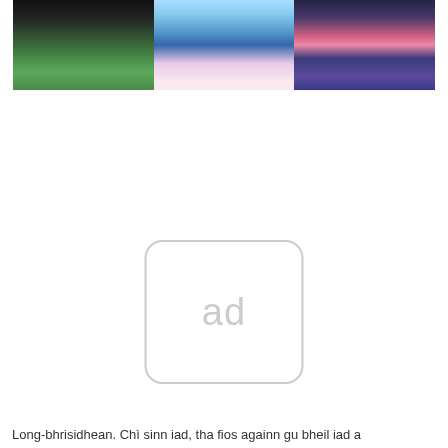[Figure (illustration): Three side-by-side illustrated images at the top: first shows a dark figure with green coloring, second shows a blue helmeted character against sky/clouds, third shows a pink and dark blue figure/costume detail.]
[Figure (other): Ad placeholder icon — rounded rectangle with 'ad' text in light grey, centered on the page.]
Long-bhrisidhean. Chì sinn iad, tha fios againn gu bheil iad a